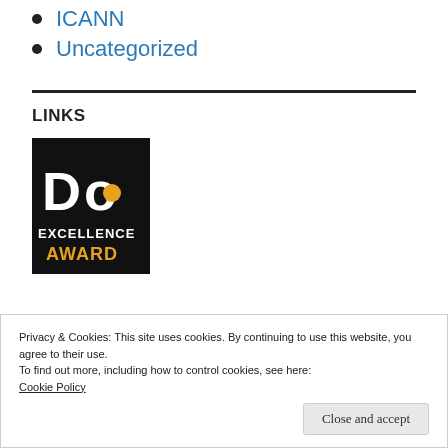ICANN
Uncategorized
LINKS
[Figure (logo): DO Excellence Award logo — black square background with white 'Do' letters, orange circle accent, text 'EXCELLENCE' in white and 'AWARD' in orange.]
Privacy & Cookies: This site uses cookies. By continuing to use this website, you agree to their use.
To find out more, including how to control cookies, see here:
Cookie Policy
Close and accept